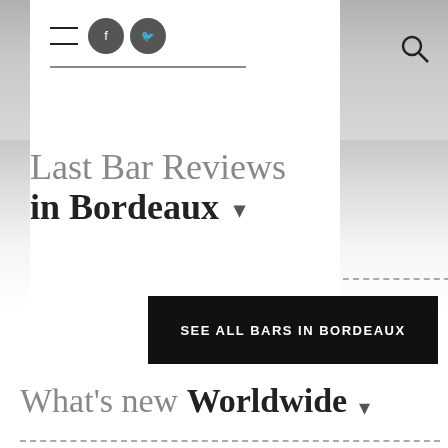WTB website header with social icons (Facebook, Twitter), logo, and search icon
Last Bar Reviews in Bordeaux
SEE ALL BARS IN BORDEAUX
What's new Worldwide